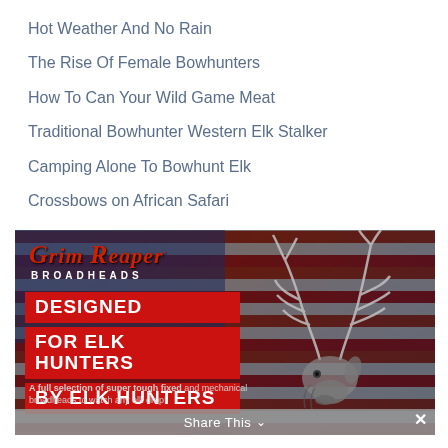Hot Weather And No Rain
The Rise Of Female Bowhunters
How To Can Your Wild Game Meat
Traditional Bowhunter Western Elk Stalker
Camping Alone To Bowhunt Elk
Crossbows on African Safari
[Figure (illustration): Grim Reaper Broadheads advertisement banner featuring American flag background, elk illustration, and bold red promotional text: DESIGNED FOR ELK HUNTERS BY ELK HUNTERS. A full selection of super tough fixed and mechanical broadheads to watch any elk drop!]